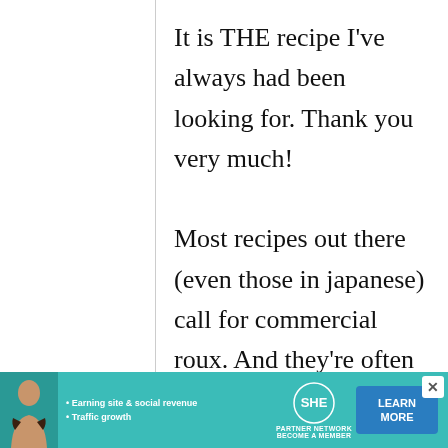It is THE recipe I've always had been looking for. Thank you very much! Most recipes out there (even those in japanese) call for commercial roux. And they're often nowhere close to the taste of the stuff from some of the great yoshoku
[Figure (infographic): Advertisement banner for SHE Partner Network featuring a woman's photo, bullet points about earning site & social revenue and traffic growth, SHE logo, and a Learn More button]